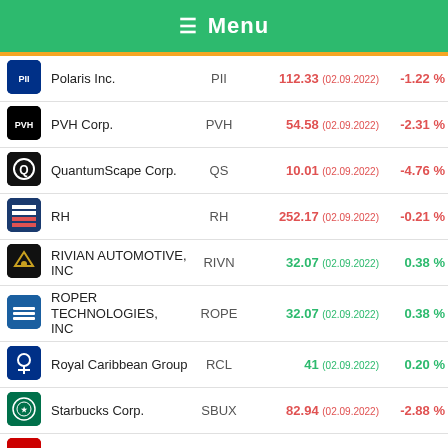Menu
| Logo | Company | Ticker | Price (Date) | Change % |
| --- | --- | --- | --- | --- |
| PII logo | Polaris Inc. | PII | 112.33 (02.09.2022) | -1.22 % |
| PVH logo | PVH Corp. | PVH | 54.58 (02.09.2022) | -2.31 % |
| Q logo | QuantumScape Corp. | QS | 10.01 (02.09.2022) | -4.76 % |
| RH logo | RH | RH | 252.17 (02.09.2022) | -0.21 % |
| RIVN logo | RIVIAN AUTOMOTIVE, INC | RIVN | 32.07 (02.09.2022) | 0.38 % |
| ROPE logo | ROPER TECHNOLOGIES, INC | ROPE | 32.07 (02.09.2022) | 0.38 % |
| RCL logo | Royal Caribbean Group | RCL | 41 (02.09.2022) | 0.20 % |
| SBUX logo | Starbucks Corp. | SBUX | 82.94 (02.09.2022) | -2.88 % |
| TSLA logo | Tesla, Inc. | TSLA | 270.21 (02.09.2022) | -2.51 % |
| TBC logo | THE BEACHBODY COMPANY, INC | BODY | 1.14 (02.09.2022) | -3.39 % |
| GAP logo | The Gap, Inc. | GPS | 15.86 (21.01.2022) | -1.25 % |
| TJX logo | TJX Companies, Inc. | TJX | 63.52 (02.09.2022) | -0.50 % |